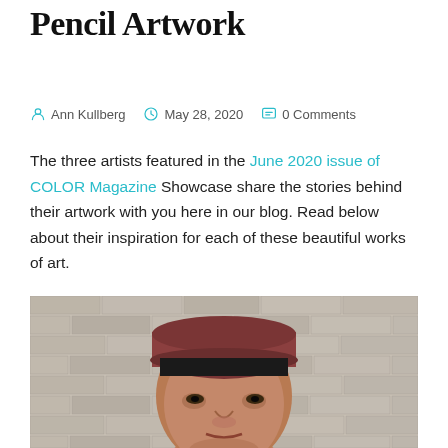Pencil Artwork
Ann Kullberg   May 28, 2020   0 Comments
The three artists featured in the June 2020 issue of COLOR Magazine Showcase share the stories behind their artwork with you here in our blog. Read below about their inspiration for each of these beautiful works of art.
[Figure (photo): A painted or drawn portrait of an elderly man wearing a dark red/maroon cap, standing in front of a light-colored brick wall. The artwork appears to be a detailed pencil or colored pencil piece.]